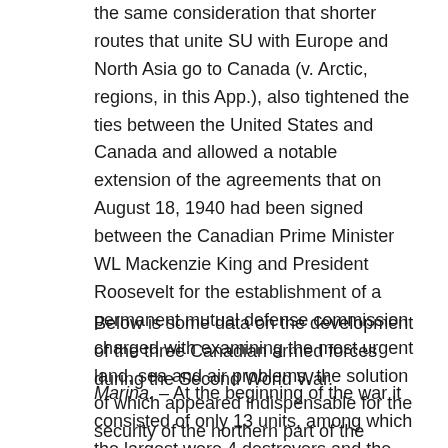the same consideration that shorter routes that unite SU with Europe and North Asia go to Canada (v. Arctic, regions, in this App.), also tightened the ties between the United States and Canada and allowed a notable extension of the agreements that on August 18, 1940 had been signed between the Canadian Prime Minister WL Mackenzie King and President Roosevelt for the establishment of a permanent mutual defense commission charged with examining the most urgent land, sea and air problems, the solution of which appeared indispensable for the security of the northern part of the western hemisphere.
Below is some data on the development of the three Canadian armed forces during the Second World War.
Marina. – At the beginning of the war it consisted of only 13 units, among which the largest were 4 destroyers and the rest minesweepers. At the end of 1943 the navy had 600 units in service, mostly assigned to the escort of convoys and for the Atlantic defense of the Atlantic.